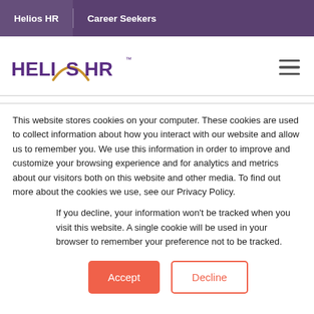Helios HR | Career Seekers
[Figure (logo): Helios HR logo with orange arc and purple text, plus hamburger menu icon]
This website stores cookies on your computer. These cookies are used to collect information about how you interact with our website and allow us to remember you. We use this information in order to improve and customize your browsing experience and for analytics and metrics about our visitors both on this website and other media. To find out more about the cookies we use, see our Privacy Policy.
If you decline, your information won't be tracked when you visit this website. A single cookie will be used in your browser to remember your preference not to be tracked.
Accept   Decline